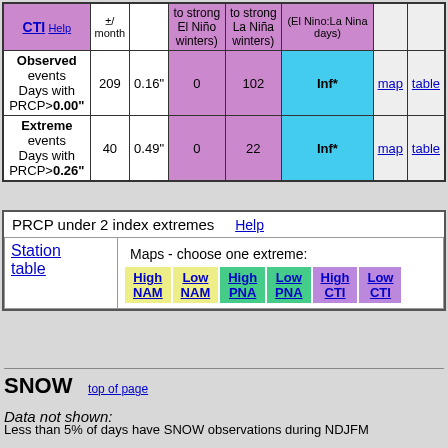|  |  |  | moderate to strong El Niño winters) | moderate to strong La Niña winters) | Ratio (El Nino:La Nina days) |
| --- | --- | --- | --- | --- | --- |
| Observed events Days with PRCP>0.00" | 209 | 0.16" | 0 | 102 | Inf* | map | table |
| Extreme events Days with PRCP>0.26" | 40 | 0.49" | 0 | 22 | Inf* | map | table |
| Station table | Maps - choose one extreme: High NAM, Low NAM, High PNA, Low PNA, High CTI, Low CTI |
| --- | --- |
SNOW
Data not shown:
Less than 5% of days have SNOW observations during NDJFM